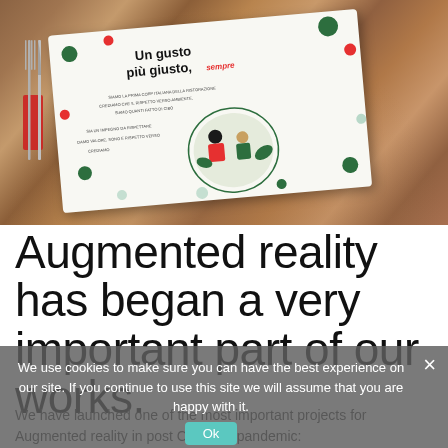[Figure (photo): Photo of a wooden restaurant table with a branded placemat reading 'Un gusto più giusto' with colorful decorative dots and illustrated figures, alongside a fork and knife on a red napkin.]
Augmented reality has began a very important part of our works.
We have launched one of the most important projects for Augmented reality in post Covid-19 pandemic:
We use cookies to make sure you can have the best experience on our site. If you continue to use this site we will assume that you are happy with it. Ok